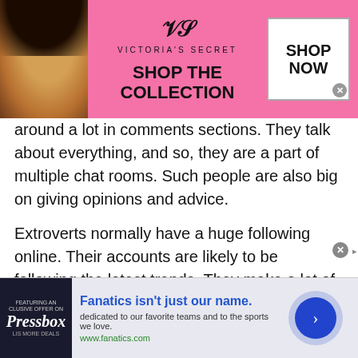[Figure (infographic): Victoria's Secret advertisement banner. Pink background with a model on the left, VS logo and 'Shop The Collection' text in the middle, and a 'Shop Now' button on the right.]
around a lot in comments sections. They talk about everything, and so, they are a part of multiple chat rooms. Such people are also big on giving opinions and advice.
Extroverts normally have a huge following online. Their accounts are likely to be following the latest trends. They make a lot of friends online and talk about varying topics. An extrovert may even have an account on more than one chat website. He may or may not have a real username. Several extroverts join chat websites with their original name and info so followers can easily find them
[Figure (infographic): Fanatics advertisement banner at the bottom. Dark left panel with Pressbox logo, center text 'Fanatics isn't just our name.' with description and www.fanatics.com URL, and a circular blue arrow button on the right.]